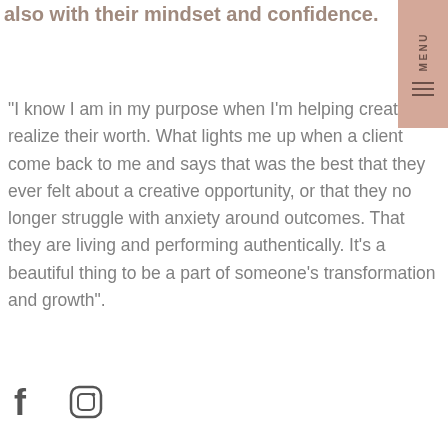also with their mindset and confidence.
“I know I am in my purpose when I’m helping creatives realize their worth. What lights me up when a client come back to me and says that was the best that they ever felt about a creative opportunity, or that they no longer struggle with anxiety around outcomes. That they are living and performing authentically. It’s a beautiful thing to be a part of someone’s transformation and growth”.
[Figure (other): Social media icons: Facebook (f) and Instagram (circle with inner square and dot)]